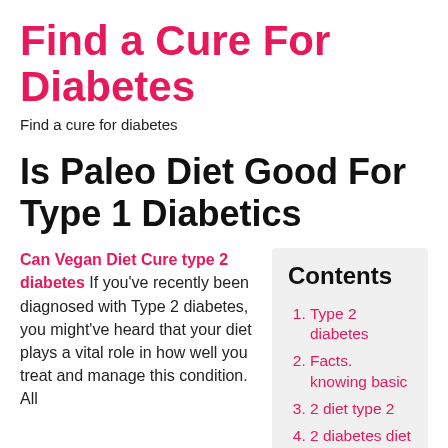Find a Cure For Diabetes
Find a cure for diabetes
Is Paleo Diet Good For Type 1 Diabetics
Can Vegan Diet Cure type 2 diabetes If you've recently been diagnosed with Type 2 diabetes, you might've heard that your diet plays a vital role in how well you treat and manage this condition. All
| Contents |
| --- |
| Type 2 diabetes |
| Facts. knowing basic |
| 2 diet type 2 |
| 2 diabetes diet app |